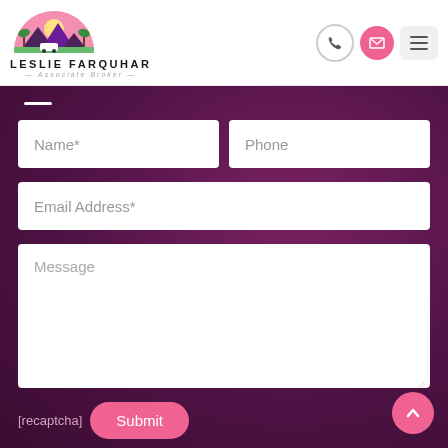[Figure (logo): Leslie Farquhar logo: semicircle with mountains, palm trees, sunset sky in pink/green/yellow, with text LESLIE FARQUHAR Associate Broker]
[Figure (infographic): Navigation icons: phone icon in white circle outline, envelope icon in pink circle, hamburger menu icon in gray rounded square]
[Figure (screenshot): Contact form on dark purple/magenta background with fields: Name*, Phone, Email Address*, Message, recaptcha placeholder, Submit button]
[recaptcha]
[Figure (other): Pink circular scroll-to-top button with up arrow in bottom right corner]